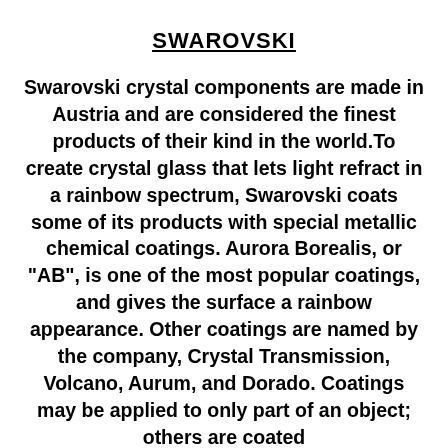SWAROVSKI
Swarovski crystal components are made in Austria and are considered the finest products of their kind in the world.To create crystal glass that lets light refract in a rainbow spectrum, Swarovski coats some of its products with special metallic chemical coatings. Aurora Borealis, or "AB", is one of the most popular coatings, and gives the surface a rainbow appearance. Other coatings are named by the company, Crystal Transmission, Volcano, Aurum, and Dorado. Coatings may be applied to only part of an object; others are coated